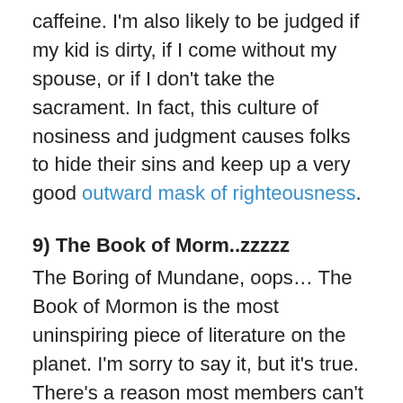caffeine. I'm also likely to be judged if my kid is dirty, if I come without my spouse, or if I don't take the sacrament. In fact, this culture of nosiness and judgment causes folks to hide their sins and keep up a very good outward mask of righteousness.
9) The Book of Morm..zzzzz
The Boring of Mundane, oops… The Book of Mormon is the most uninspiring piece of literature on the planet. I'm sorry to say it, but it's true. There's a reason most members can't make it past 2 Nephi. But sadly, Mormons have to pretend that they like it because it just so happens to be the keystone of their religion.
10) King James English
Everything in the Mormon Church is in King James English. The Bible, the Book of Mormon, and every prayer